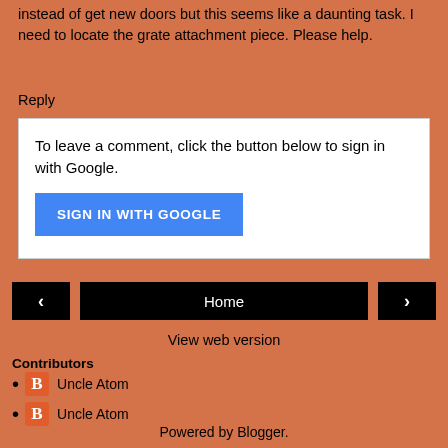instead of get new doors but this seems like a daunting task. I need to locate the grate attachment piece. Please help.
Reply
To leave a comment, click the button below to sign in with Google.
SIGN IN WITH GOOGLE
Home
View web version
Contributors
Uncle Atom
Uncle Atom
Powered by Blogger.